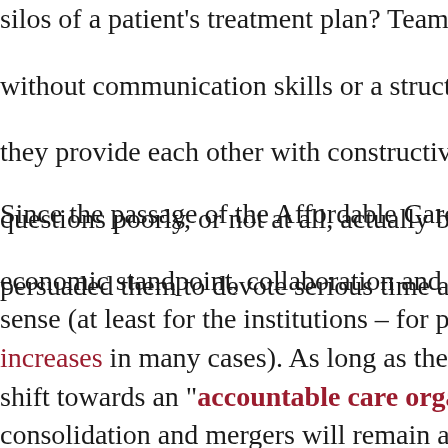silos of a patient's treatment plan? Team members without communication skills or a structured way they provide each other with constructive feedback questions poorly, or not at all, actually be persuaded them to devote serious time and
Since the passage of the Affordable Care Act, from an economic standpoint, collaboration and coordination make sense (at least for the institutions – for patients, costs increases in many cases). As long as the trend continues shift towards an "accountable care organization" model, consolidation and mergers will remain a priority. But training typically does not emphasize teamwork or its complexity. For instance, small and solo medical practices absorbed into larger institutions; these physicians might be entirely new to them, with its own management of differences in "culture," a